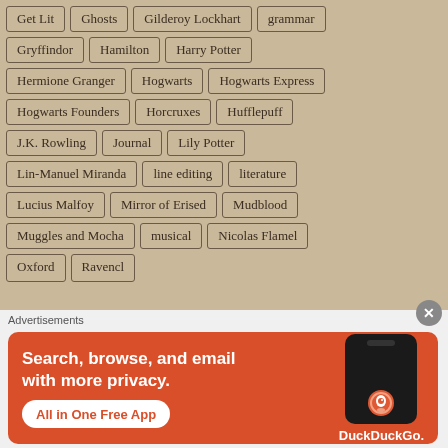Get Lit
Ghosts
Gilderoy Lockhart
grammar
Gryffindor
Hamilton
Harry Potter
Hermione Granger
Hogwarts
Hogwarts Express
Hogwarts Founders
Horcruxes
Hufflepuff
J.K. Rowling
Journal
Lily Potter
Lin-Manuel Miranda
line editing
literature
Lucius Malfoy
Mirror of Erised
Mudblood
Muggles and Mocha
musical
Nicolas Flamel
Advertisements
[Figure (screenshot): DuckDuckGo advertisement banner: 'Search, browse, and email with more privacy. All in One Free App' with phone mockup and DuckDuckGo logo on orange background]